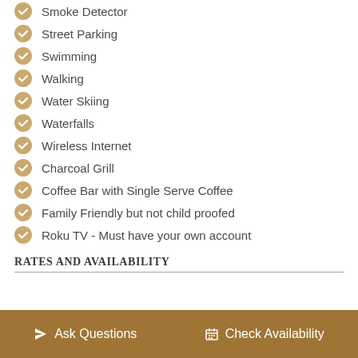Smoke Detector
Street Parking
Swimming
Walking
Water Skiing
Waterfalls
Wireless Internet
Charcoal Grill
Coffee Bar with Single Serve Coffee
Family Friendly but not child proofed
Roku TV - Must have your own account
RATES AND AVAILABILITY
Ask Questions   Check Availability